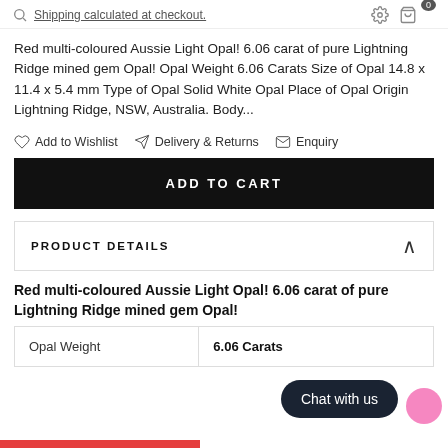Shipping calculated at checkout.
Red multi-coloured Aussie Light Opal! 6.06 carat of pure Lightning Ridge mined gem Opal! Opal Weight 6.06 Carats Size of Opal 14.8 x 11.4 x 5.4 mm Type of Opal Solid White Opal Place of Opal Origin Lightning Ridge, NSW, Australia. Body...
Add to Wishlist
Delivery & Returns
Enquiry
ADD TO CART
PRODUCT DETAILS
Red multi-coloured Aussie Light Opal! 6.06 carat of pure Lightning Ridge mined gem Opal!
|  |  |
| --- | --- |
| Opal Weight | 6.06 Carats |